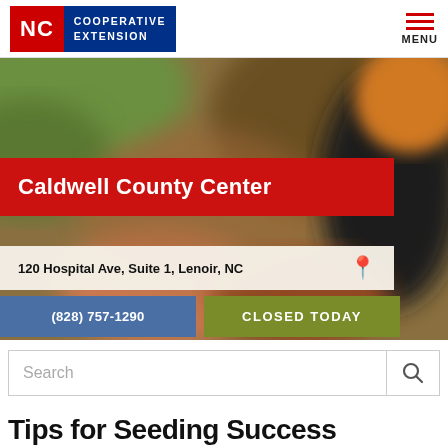[Figure (logo): NC Cooperative Extension logo — red NC box with blue background and white text reading COOPERATIVE EXTENSION]
[Figure (photo): Blurred bokeh background showing hands with gloves in a garden/farm setting, with orange and green tones]
Caldwell County Center
120 Hospital Ave, Suite 1, Lenoir, NC
(828) 757-1290
CLOSED TODAY
Search
Tips for Seeding Success